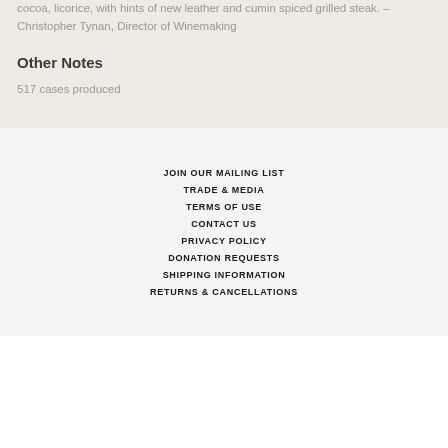cocoa, licorice, with hints of new leather and cumin spiced grilled steak. – Christopher Tynan, Director of Winemaking
Other Notes
517 cases produced
JOIN OUR MAILING LIST
TRADE & MEDIA
TERMS OF USE
CONTACT US
PRIVACY POLICY
DONATION REQUESTS
SHIPPING INFORMATION
RETURNS & CANCELLATIONS